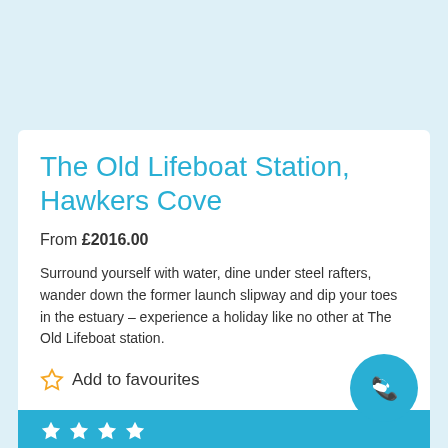The Old Lifeboat Station, Hawkers Cove
From £2016.00
Surround yourself with water, dine under steel rafters, wander down the former launch slipway and dip your toes in the estuary – experience a holiday like no other at The Old Lifeboat station.
Add to favourites
[Figure (other): Phone/contact icon in a teal circular button]
[Figure (other): Four gold star rating icons on teal background bar]